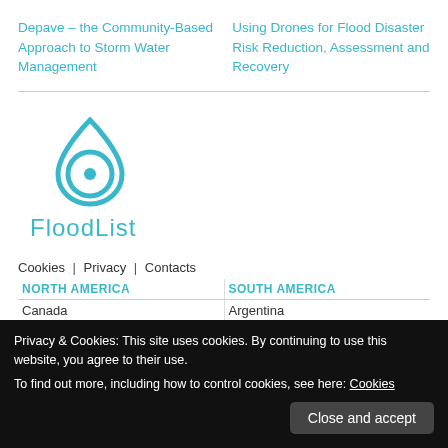Depave – the Community-Based Approach to Storm Water Management
Using Drones for Flood Disaster Risk Reduction, Assessment and Recovery
[Figure (logo): FloodList logo: circular water drop icon in cyan/teal color above the text 'FloodList' in cyan]
Cookies | Privacy | Contacts
| NORTH AMERICA | SOUTH AMERICA |
| --- | --- |
| Canada | Argentina |
| EUROPE | ASIA |
| --- | --- |
Privacy & Cookies: This site uses cookies. By continuing to use this website, you agree to their use.
To find out more, including how to control cookies, see here: Cookies
Close and accept